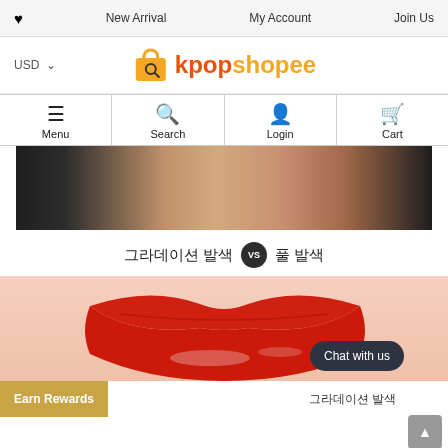❤ New Arrival  My Account  Join Us
[Figure (logo): kpopshopee shopping bag logo with orange and golden text]
[Figure (screenshot): Navigation bar with Menu, Search, Login, Cart icons]
[Figure (photo): Close-up of person in black outfit showing shoulder and neck area]
그라데이션 발색 vs 풀 발색
[Figure (photo): Close-up lips with red gradient lipstick applied, gloss finish]
Earn Rewards
그라데이션 발색
Chat with us